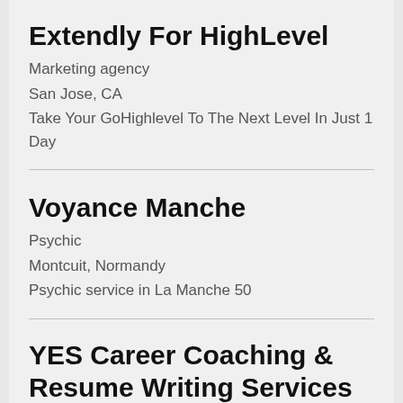Extendly For HighLevel
Marketing agency
San Jose, CA
Take Your GoHighlevel To The Next Level In Just 1 Day
Voyance Manche
Psychic
Montcuit, Normandy
Psychic service in La Manche 50
YES Career Coaching & Resume Writing Services